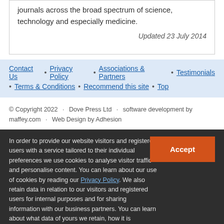journals across the broad spectrum of science, technology and especially medicine.

Updated 23 July 2014
Contact Us • Privacy Policy • Associations & Partners • Testimonials • Terms & Conditions • Recommend this site • Top
© Copyright 2022 · Dove Press Ltd · software development by maffey.com · Web Design by Adhesion
In order to provide our website visitors and registered users with a service tailored to their individual preferences we use cookies to analyse visitor traffic and personalise content. You can learn about our use of cookies by reading our Privacy Policy. We also retain data in relation to our visitors and registered users for internal purposes and for sharing information with our business partners. You can learn about what data of yours we retain, how it is processed, who it is shared with and your right to have your data deleted by reading our Privacy Policy.

If you agree to our use of cookies and the contents of our Privacy Policy please click 'accept'.